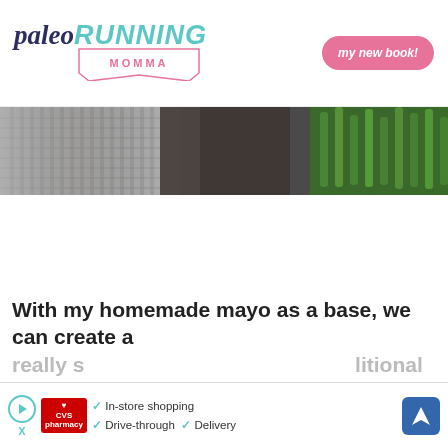paleo RUNNING MOMMA — my new book!
[Figure (photo): Partial hero photo showing a grey knitted fabric texture on the left and green herbs/rosemary on the right against a dark blurred background]
With my homemade mayo as a base, we can create a really s[omething] ... litional
[Figure (infographic): CVS pharmacy advertisement banner showing: play button icon, CVS pharmacy logo, checkmarks with 'In-store shopping', 'Drive-through', 'Delivery', and a blue navigation/directions icon]